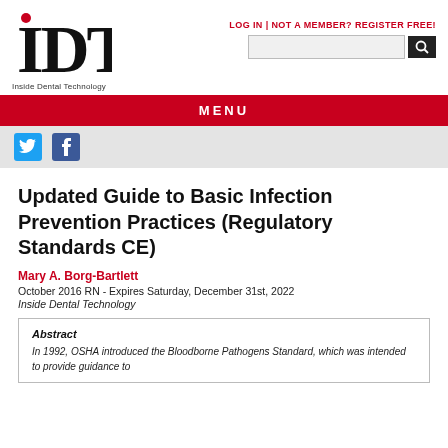[Figure (logo): IDT Inside Dental Technology logo with red dot above the I]
LOG IN | NOT A MEMBER? REGISTER FREE!
MENU
[Figure (illustration): Twitter and Facebook social media icons]
Updated Guide to Basic Infection Prevention Practices (Regulatory Standards CE)
Mary A. Borg-Bartlett
October 2016 RN - Expires Saturday, December 31st, 2022
Inside Dental Technology
Abstract
In 1992, OSHA introduced the Bloodborne Pathogens Standard, which was intended to provide guidance to